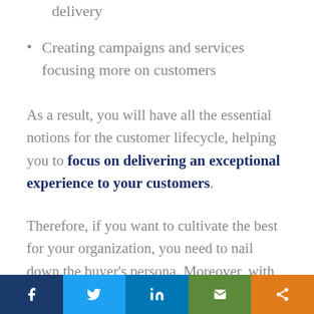delivery
Creating campaigns and services focusing more on customers
As a result, you will have all the essential notions for the customer lifecycle, helping you to focus on delivering an exceptional experience to your customers.
Therefore, if you want to cultivate the best for your organization, you need to nail down the buyer’s persona. Moreover, with this, you can enrich your marketing campaigns, product development, and customer experience.
Social share bar: Facebook, Twitter, LinkedIn, Email, Share